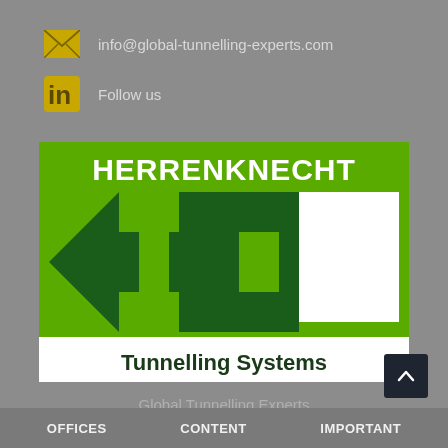info@global-tunnelling-experts.com
Follow us
[Figure (logo): Herrenknecht Tunnelling Systems logo — green background with dark green H-shaped arrow icon, white text HERRENKNECHT at top, white band at bottom with 'Tunnelling Systems' in dark text]
Global Tunnelling Experts
a subsidiary of Herrrenknecht AG, Germany
OFFICES   CONTENT   IMPORTANT